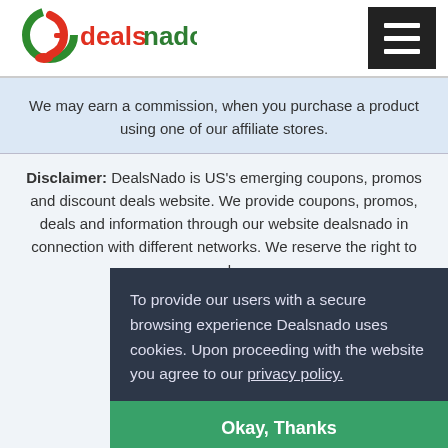[Figure (logo): Dealsnado logo with green and red stylized 'd' and text 'dealsnado']
We may earn a commission, when you purchase a product using one of our affiliate stores.
Disclaimer: DealsNado is US's emerging coupons, promos and discount deals website. We provide coupons, promos, deals and information through our website dealsnado in connection with different networks. We reserve the right to mod... Any... up... Cou... sole... can... this... who...
To provide our users with a secure browsing experience Dealsnado uses cookies. Upon proceeding with the website you agree to our privacy policy.
Okay, Thanks